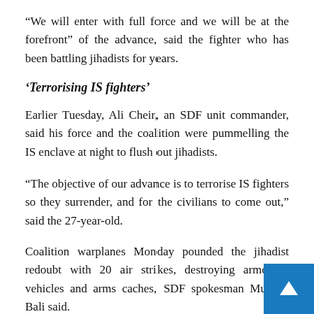“We will enter with full force and we will be at the forefront” of the advance, said the fighter who has been battling jihadists for years.
‘Terrorising IS fighters’
Earlier Tuesday, Ali Cheir, an SDF unit commander, said his force and the coalition were pummelling the IS enclave at night to flush out jihadists.
“The objective of our advance is to terrorise IS fighters so they surrender, and for the civilians to come out,” said the 27-year-old.
Coalition warplanes Monday pounded the jihadist redoubt with 20 air strikes, destroying armoured vehicles and arms caches, SDF spokesman Mustefa Bali said.
He said US-backed forces clashed with jihadists on several